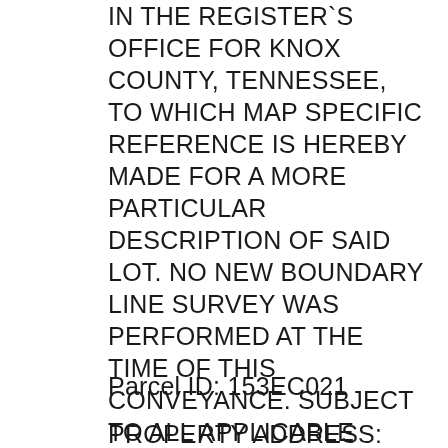IN THE REGISTER`S OFFICE FOR KNOX COUNTY, TENNESSEE, TO WHICH MAP SPECIFIC REFERENCE IS HEREBY MADE FOR A MORE PARTICULAR DESCRIPTION OF SAID LOT. NO NEW BOUNDARY LINE SURVEY WAS PERFORMED AT THE TIME OF THIS CONVEYANCE. SUBJECT TO ALL APPLICABLE RESTRICTIONS, EASEMENTS, SET-BACK LINES, AND OTHER CONDITIONS SHOWN OF RECORD IN THE REGISTER`S OFFICE FOR KNOX COUNTY, TENNESSEE. BEING THE SAME PROPERTY CONVEYED TO JAYESH D. PATEL AND WIFE, CHHAY PATEL BY WARRANTY DEED DATED 3/27/06 AND RECORDED IN INSTRUMENT NUMBER 200601010082899 IN THE REGISTER`S OFFICE FOR KNOX COUNTY, TENNESSEE.
Parcel ID: 153EC021
PROPERTY ADDRESS: The street address of the